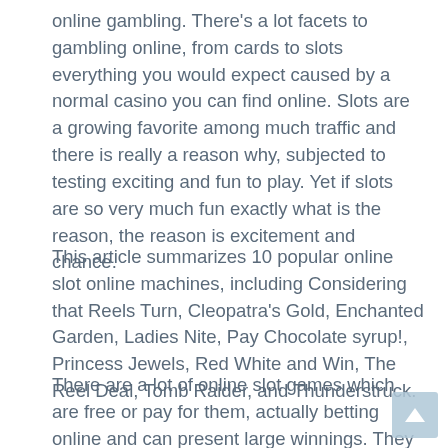online gambling. There's a lot facets to gambling online, from cards to slots everything you would expect caused by a normal casino you can find online. Slots are a growing favorite among much traffic and there is really a reason why, subjected to testing exciting and fun to play. Yet if slots are so very much fun exactly what is the reason, the reason is excitement and chance.
This article summarizes 10 popular online slot online machines, including Considering that Reels Turn, Cleopatra's Gold, Enchanted Garden, Ladies Nite, Pay Chocolate syrup!, Princess Jewels, Red White and Win, The Reel Deal, Tomb Raider, and Thunderstruck.
There are a lot of online slot games which are free or pay for them, actually betting online and can present large winnings. They all have fancy 'slot machines' sharp graphics and all the stops and whistles that you